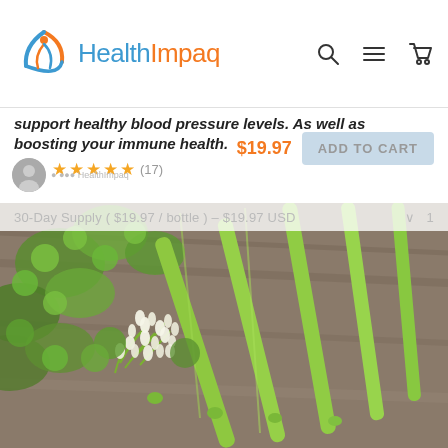HealthImpaq
support healthy blood pressure levels. As well as boosting your immune health.
$19.97
ADD TO CART
★★★★★ (17)
30-Day Supply ( $19.97 / bottle ) – $19.97 USD  ∨  1
[Figure (photo): Close-up photo of moringa plant with long green drumstick pods, small white flower buds on stems, and round green leaves on a wooden surface]